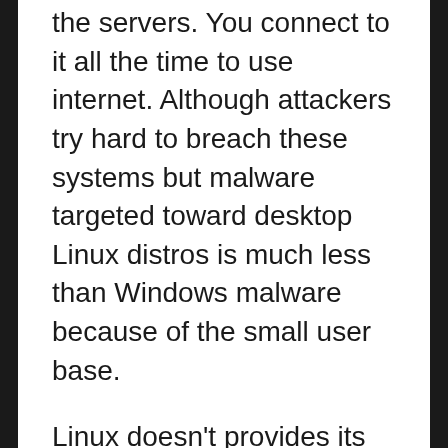the servers. You connect to it all the time to use internet. Although attackers try hard to breach these systems but malware targeted toward desktop Linux distros is much less than Windows malware because of the small user base.
Linux doesn't provides its users with much access to low level system files and functions as Windows does. Meaning any malware that does find its way into your system tends to be easier to isolate and remove.